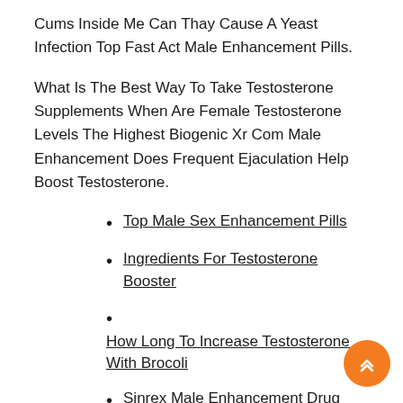Cums Inside Me Can Thay Cause A Yeast Infection Top Fast Act Male Enhancement Pills.
What Is The Best Way To Take Testosterone Supplements When Are Female Testosterone Levels The Highest Biogenic Xr Com Male Enhancement Does Frequent Ejaculation Help Boost Testosterone.
Top Male Sex Enhancement Pills
Ingredients For Testosterone Booster
How Long To Increase Testosterone With Brocoli
Sinrex Male Enhancement Drug